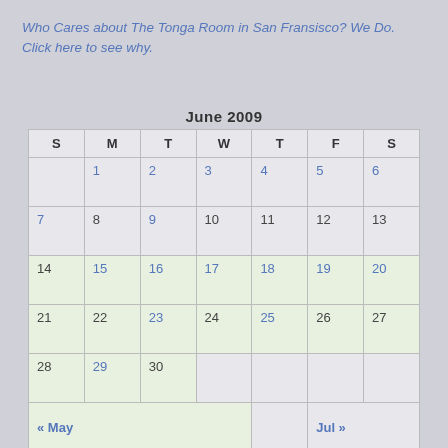Who Cares about The Tonga Room in San Fransisco? We Do. Click here to see why.
| S | M | T | W | T | F | S |
| --- | --- | --- | --- | --- | --- | --- |
|  | 1 | 2 | 3 | 4 | 5 | 6 |
| 7 | 8 | 9 | 10 | 11 | 12 | 13 |
| 14 | 15 | 16 | 17 | 18 | 19 | 20 |
| 21 | 22 | 23 | 24 | 25 | 26 | 27 |
| 28 | 29 | 30 |  |  |  |  |
| « May |  |  |  | Jul » |  |  |